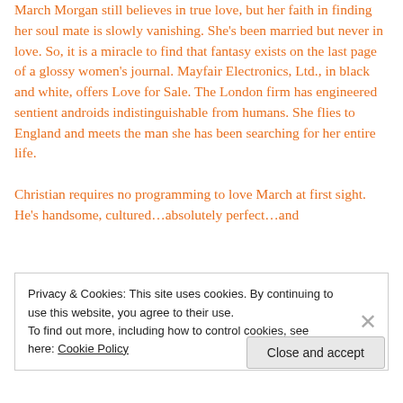March Morgan still believes in true love, but her faith in finding her soul mate is slowly vanishing. She's been married but never in love. So, it is a miracle to find that fantasy exists on the last page of a glossy women's journal. Mayfair Electronics, Ltd., in black and white, offers Love for Sale. The London firm has engineered sentient androids indistinguishable from humans. She flies to England and meets the man she has been searching for her entire life.
Christian requires no programming to love March at first sight. He's handsome, cultured…absolutely perfect…and
Privacy & Cookies: This site uses cookies. By continuing to use this website, you agree to their use.
To find out more, including how to control cookies, see here: Cookie Policy